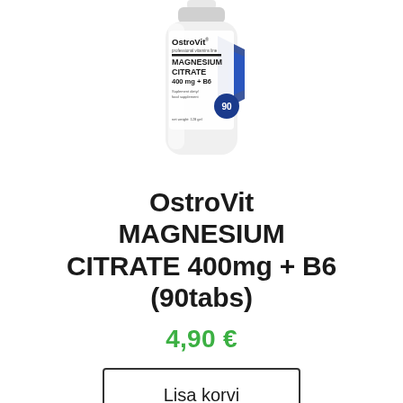[Figure (photo): OstroVit Magnesium Citrate 400mg + B6 90 tabs supplement bottle, white with blue branding and label]
OstroVit MAGNESIUM CITRATE 400mg + B6 (90tabs)
4,90 €
Lisa korvi